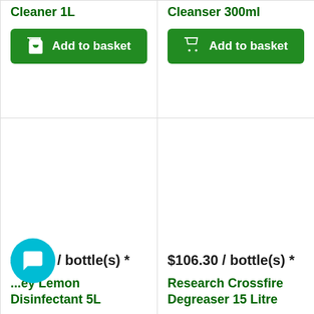Cleaner 1L
Add to basket
Cleanser 300ml
Add to basket
$24.50 / bottle(s) *
...ey Lemon Disinfectant 5L
$106.30 / bottle(s) *
Research Crossfire Degreaser 15 Litre